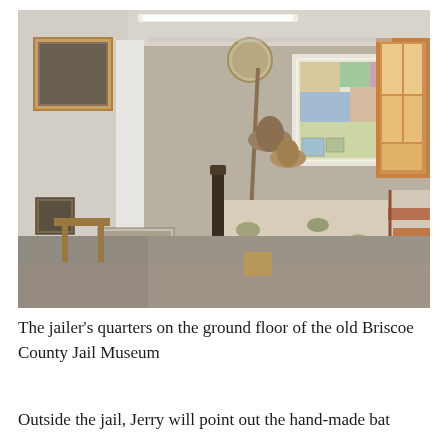[Figure (photo): Interior of the jailer's quarters on the ground floor of the old Briscoe County Jail Museum. The room has a concrete floor, white walls, a US map poster on the back wall, framed pictures on the left wall, a bed with a floral quilt, a vintage cast-iron stove with a pipe, a staircase on the right, and a window with light coming through. Various items including hats and tools are visible.]
The jailer's quarters on the ground floor of the old Briscoe County Jail Museum
Outside the jail, Jerry will point out the hand-made bat